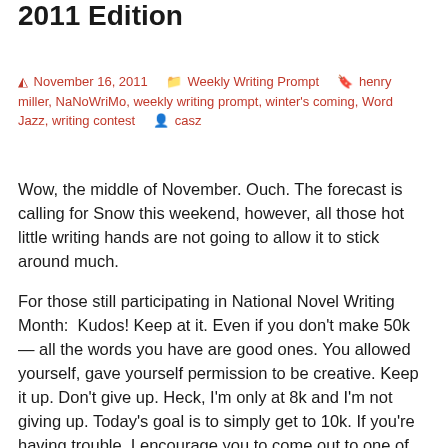2011 Edition
November 16, 2011   Weekly Writing Prompt   henry miller, NaNoWriMo, weekly writing prompt, winter's coming, Word Jazz, writing contest   casz
Wow, the middle of November. Ouch. The forecast is calling for Snow this weekend, however, all those hot little writing hands are not going to allow it to stick around much.
For those still participating in National Novel Writing Month:  Kudos! Keep at it. Even if you don't make 50k — all the words you have are good ones. You allowed yourself, gave yourself permission to be creative. Keep it up. Don't give up. Heck, I'm only at 8k and I'm not giving up. Today's goal is to simply get to 10k. If you're having trouble, I encourage you to come out to one of the write-ins and challenge yourself with your fellow WriMos and SnoValley Writes! members and do some word wars, talk out your